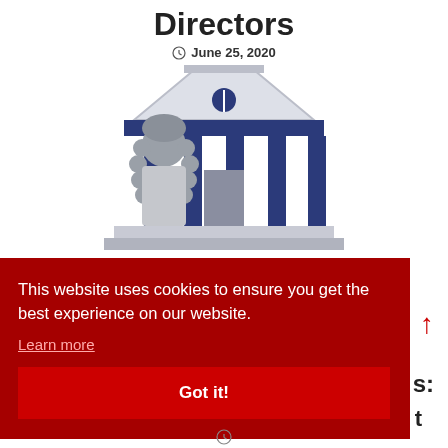Directors
June 25, 2020
[Figure (illustration): Illustration of a judge in a wig standing in front of a classical building with columns (courthouse/court building), in grey, white, and dark navy blue colors.]
This website uses cookies to ensure you get the best experience on our website.
Learn more
Got it!